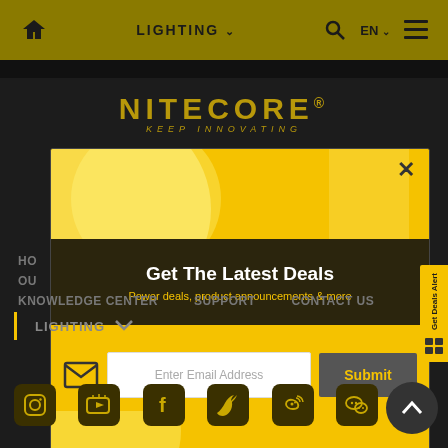LIGHTING  EN  ☰
[Figure (logo): NITECORE® KEEP INNOVATING logo in gold on dark background]
[Figure (screenshot): Email signup modal popup: 'Get The Latest Deals - Power deals, product announcements & more' with email input field and Submit button on yellow background]
HO
OU
KNOWLEDGE CENTER   SUPPORT   CONTACT US
LIGHTING
[Figure (infographic): Social media icons row: Instagram, YouTube, Facebook, Twitter, Weibo, WeChat in gold on dark background]